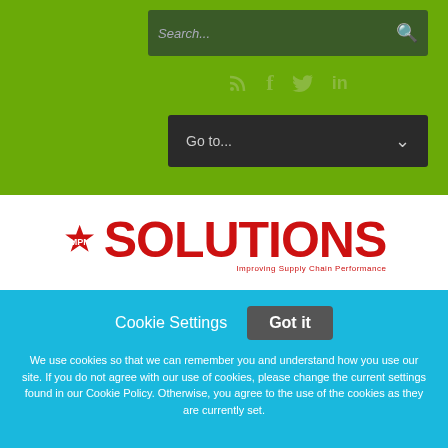[Figure (screenshot): Green navigation bar with search box and social media icons (RSS, Facebook, Twitter, LinkedIn) and a 'Go to...' dropdown menu]
[Figure (logo): MPN Solutions logo with star icon, red bold SOLUTIONS text, and tagline 'Improving Supply Chain Performance']
Cookie Settings
Got it
We use cookies so that we can remember you and understand how you use our site. If you do not agree with our use of cookies, please change the current settings found in our Cookie Policy. Otherwise, you agree to the use of the cookies as they are currently set.